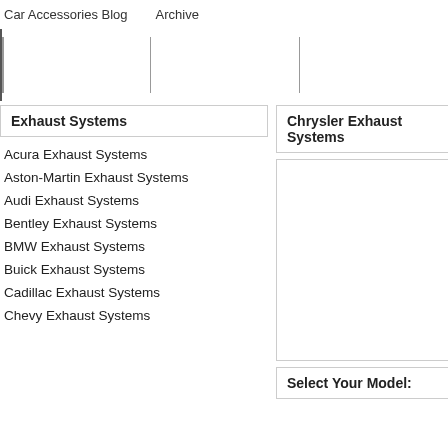Car Accessories Blog   Archive
Exhaust Systems
Chrysler Exhaust Systems
Acura Exhaust Systems
Aston-Martin Exhaust Systems
Audi Exhaust Systems
Bentley Exhaust Systems
BMW Exhaust Systems
Buick Exhaust Systems
Cadillac Exhaust Systems
Chevy Exhaust Systems
Select Your Model: